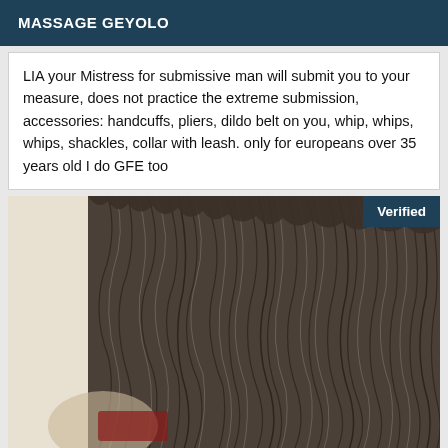MASSAGE GEYOLO
LIA your Mistress for submissive man will submit you to your measure, does not practice the extreme submission, accessories: handcuffs, pliers, dildo belt on you, whip, whips, whips, shackles, collar with leash. only for europeans over 35 years old I do GFE too
[Figure (photo): Close-up photo of a person with voluminous curly/dreadlock hair covering most of their face, with a 'Verified' badge in the top-right corner of the image]